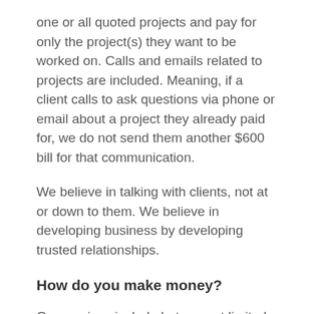one or all quoted projects and pay for only the project(s) they want to be worked on. Calls and emails related to projects are included. Meaning, if a client calls to ask questions via phone or email about a project they already paid for, we do not send them another $600 bill for that communication.
We believe in talking with clients, not at or down to them. We believe in developing business by developing trusted relationships.
How do you make money?
Our services include but are not limited to: business entity formation, contract review and drafting, demand letter writing, commercial lease negotiating, trademarking and copyrighting.